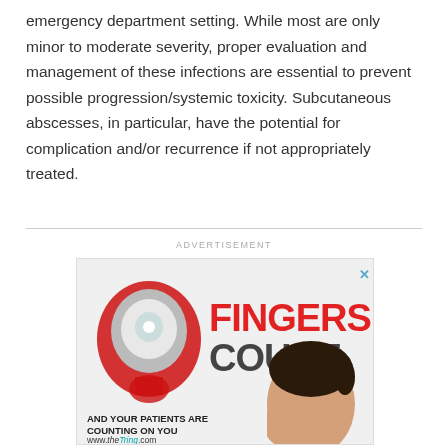emergency department setting. While most are only minor to moderate severity, proper evaluation and management of these infections are essential to prevent possible progression/systemic toxicity. Subcutaneous abscesses, in particular, have the potential for complication and/or recurrence if not appropriately treated.
[Figure (infographic): Advertisement for 'Fingers Count' medical product/service by theTring.com, featuring a stylized eye logo, bold red 'FINGERS' and grey 'COUNT' text, a photo of a young child, and text reading 'AND YOUR PATIENTS ARE COUNTING ON YOU' and 'www.theTring.com']